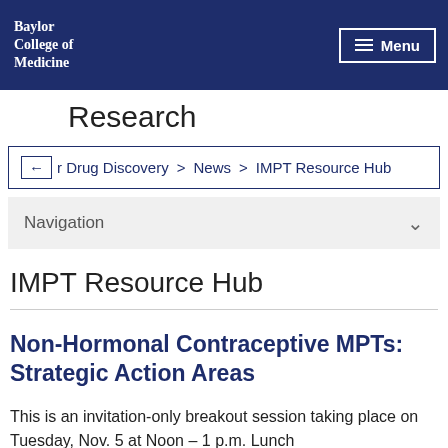Baylor College of Medicine | Menu
Research
or Drug Discovery > News > IMPT Resource Hub
Navigation
IMPT Resource Hub
Non-Hormonal Contraceptive MPTs: Strategic Action Areas
This is an invitation-only breakout session taking place on Tuesday, Nov. 5 at Noon – 1 p.m. Lunch